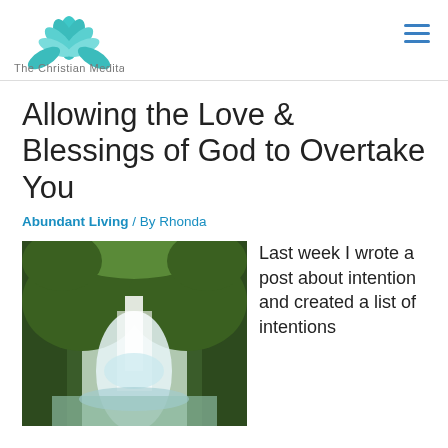[Figure (logo): The Christian Meditator logo: teal/green lotus flower above the text 'The Christian Meditator']
Allowing the Love & Blessings of God to Overtake You
Abundant Living / By Rhonda
[Figure (photo): A lush green gorge with a waterfall flowing between moss-covered rocks, with misty light at the base]
Last week I wrote a post about intention and created a list of intentions